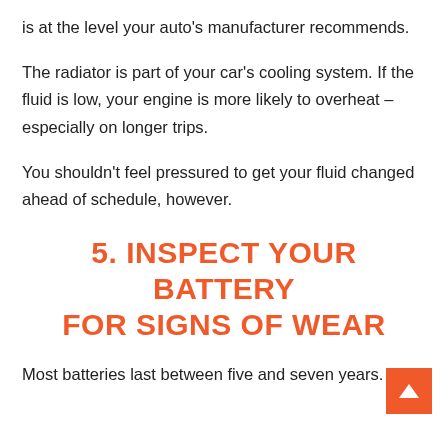is at the level your auto's manufacturer recommends.
The radiator is part of your car's cooling system. If the fluid is low, your engine is more likely to overheat – especially on longer trips.
You shouldn't feel pressured to get your fluid changed ahead of schedule, however.
5. INSPECT YOUR BATTERY FOR SIGNS OF WEAR
Most batteries last between five and seven years. If